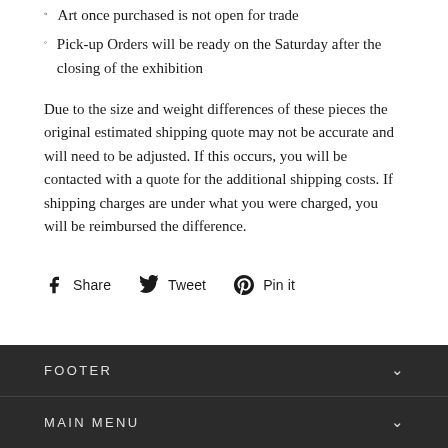Art once purchased is not open for trade
Pick-up Orders will be ready on the Saturday after the closing of the exhibition
Due to the size and weight differences of these pieces the original estimated shipping quote may not be accurate and will need to be adjusted. If this occurs, you will be contacted with a quote for the additional shipping costs. If shipping charges are under what you were charged, you will be reimbursed the difference.
Share   Tweet   Pin it
FOOTER
MAIN MENU